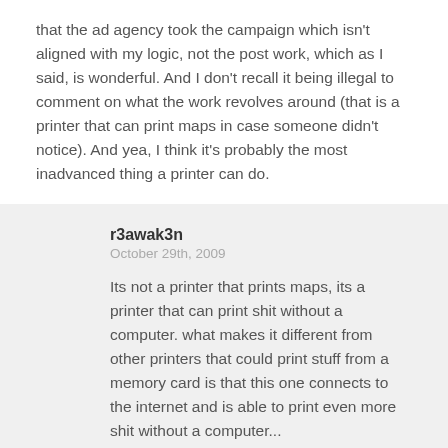that the ad agency took the campaign which isn't aligned with my logic, not the post work, which as I said, is wonderful. And I don't recall it being illegal to comment on what the work revolves around (that is a printer that can print maps in case someone didn't notice). And yea, I think it's probably the most inadvanced thing a printer can do.
r3awak3n
October 29th, 2009
Its not a printer that prints maps, its a printer that can print shit without a computer. what makes it different from other printers that could print stuff from a memory card is that this one connects to the internet and is able to print even more shit without a computer...